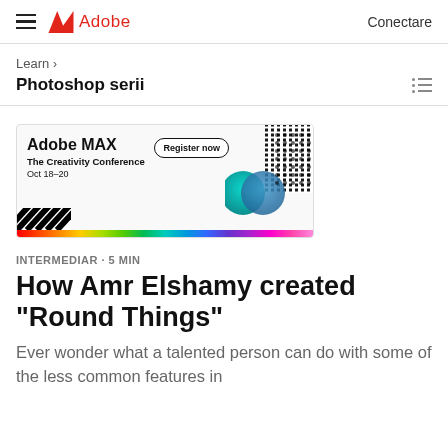Adobe · Conectare
Learn >
Photoshop serii
[Figure (screenshot): Adobe MAX The Creativity Conference Oct 18–20 banner ad with Register now button and colorful graphic elements including circles, dots pattern, and a rainbow bar at the bottom.]
INTERMEDIAR · 5 MIN
How Amr Elshamy created "Round Things"
Ever wonder what a talented person can do with some of the less common features in